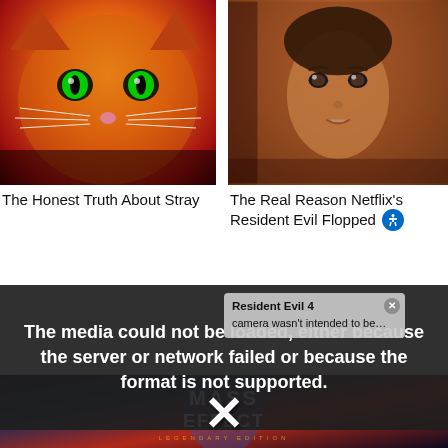[Figure (photo): Close-up photo of a cat with glowing green eyes on orange/red background]
[Figure (photo): Close-up photo of a woman with wide eyes, warm brown/amber tones]
The Honest Truth About Stray
The Real Reason Netflix's Resident Evil Flopped
The media could not be loaded, either because the server or network failed or because the format is not supported.
Resident Evil 4
camera wasn't intended to be…
[Figure (screenshot): Mass Effect Legendary Edition game cover art at bottom of page]